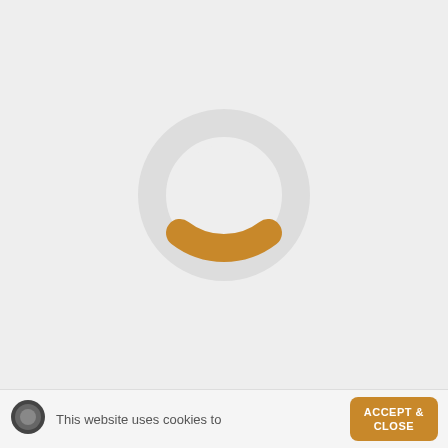[Figure (other): Loading spinner graphic: a large light gray circular ring with an amber/golden arc segment at the bottom-right, indicating a webpage loading state.]
[Figure (other): Small dark circular icon (cookie/website icon) at the bottom left of the cookie consent bar.]
This website uses cookies to
ACCEPT & CLOSE